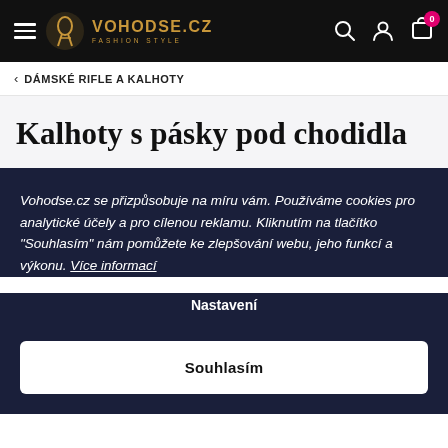VOHODSE.CZ FASHION STYLE — navigation header
< DÁMSKÉ RIFLE A KALHOTY
Kalhoty s pásky pod chodidla
Vohodse.cz se přizpůsobuje na míru vám. Používáme cookies pro analytické účely a pro cílenou reklamu. Kliknutím na tlačítko "Souhlasím" nám pomůžete ke zlepšování webu, jeho funkcí a výkonu. Více informací
Nastavení
Souhlasím